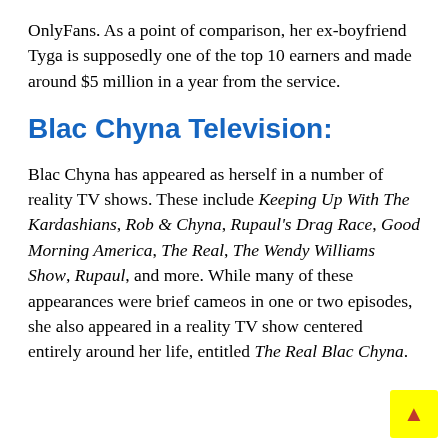OnlyFans. As a point of comparison, her ex-boyfriend Tyga is supposedly one of the top 10 earners and made around $5 million in a year from the service.
Blac Chyna Television:
Blac Chyna has appeared as herself in a number of reality TV shows. These include Keeping Up With The Kardashians, Rob & Chyna, Rupaul's Drag Race, Good Morning America, The Real, The Wendy Williams Show, Rupaul, and more. While many of these appearances were brief cameos in one or two episodes, she also appeared in a reality TV show centered entirely around her life, entitled The Real Blac Chyna.